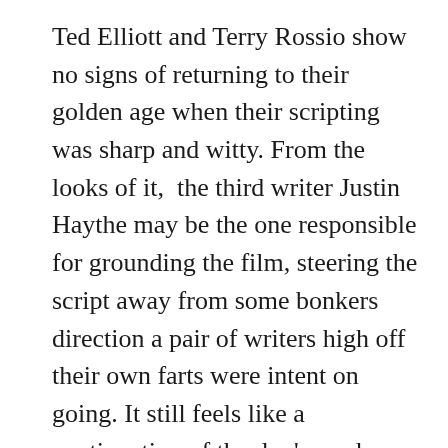Ted Elliott and Terry Rossio show no signs of returning to their golden age when their scripting was sharp and witty. From the looks of it,  the third writer Justin Haythe may be the one responsible for grounding the film, steering the script away from some bonkers direction a pair of writers high off their own farts were intent on going. It still feels like a continuation of the duo's work on the Pirates films, however,  albeit with characters that you're not utterly fucking sick of. Outside of the fun Tonto/Ranger interplay, there are some real clunky lines of dialogue and a distinct lack of subtlety when it comes to exposition. Had I not observed their decline, I wouldn't have even dreamt that the writers responsible for